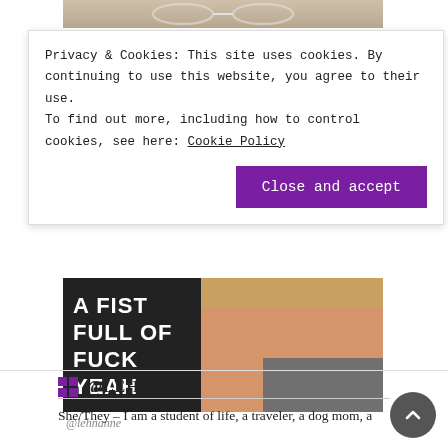[Figure (photo): Top strip of a photo showing a person with glasses and light hair]
Privacy & Cookies: This site uses cookies. By continuing to use this website, you agree to their use.
To find out more, including how to control cookies, see here: Cookie Policy
Close and accept
[Figure (photo): Selfie photo of a person holding a black mug with white text reading 'A FIST FULL OF FUCK YEAH']
@lehnanne
@LEHNANNE
She/They – I am a student of life, a traveler, a dog mom, a